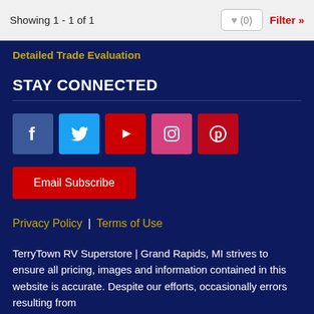Showing 1 - 1 of 1
Detailed Trade Evaluation
STAY CONNECTED
[Figure (other): Social media icons: Facebook, Twitter, YouTube, Instagram, Pinterest]
Email Subscribe
Privacy Policy | Terms of Use
TerryTown RV Superstore | Grand Rapids, MI strives to ensure all pricing, images and information contained in this website is accurate. Despite our efforts, occasionally errors resulting from